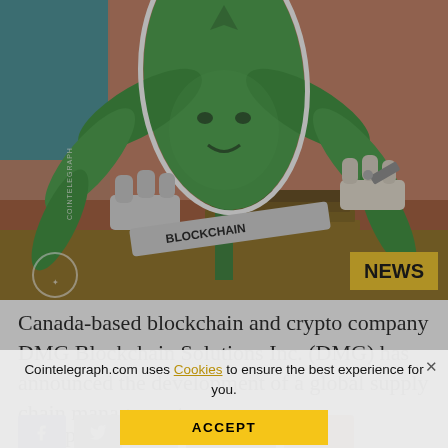[Figure (illustration): Cartoon illustration of a cannabis leaf character with gloves holding a blockchain-branded sash, with hands tattooing or labeling it. NEWS badge in yellow at bottom right. Cointelegraph watermark on left side.]
Canada-based blockchain and crypto company DMG Blockchain Solutions Inc. (DMG) has announced the development of a global supply chain management pla... an anr
As reported by Ca... r news and
Cointelegraph.com uses Cookies to ensure the best experience for you.
ACCEPT